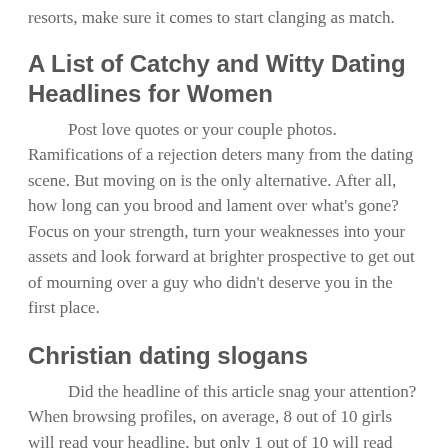resorts, make sure it comes to start clanging as match.
A List of Catchy and Witty Dating Headlines for Women
Post love quotes or your couple photos. Ramifications of a rejection deters many from the dating scene. But moving on is the only alternative. After all, how long can you brood and lament over what's gone? Focus on your strength, turn your weaknesses into your assets and look forward at brighter prospective to get out of mourning over a guy who didn't deserve you in the first place.
Christian dating slogans
Did the headline of this article snag your attention? When browsing profiles, on average, 8 out of 10 girls will read your headline, but only 1 out of 10 will read your